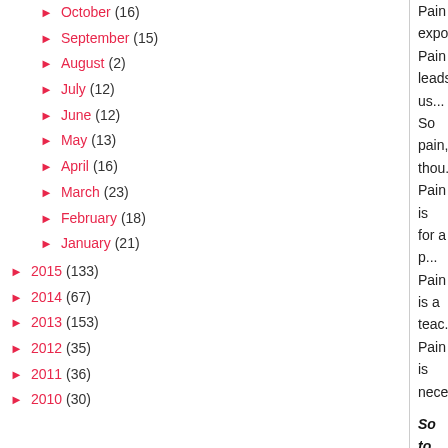► October (16)
► September (15)
► August (2)
► July (12)
► June (12)
► May (13)
► April (16)
► March (23)
► February (18)
► January (21)
► 2015 (133)
► 2014 (67)
► 2013 (153)
► 2012 (35)
► 2011 (36)
► 2010 (30)
Pain exposes...
Pain leads us...
So pain, thou...
Pain is for a p...
Pain is a teac...
Pain is necess...
So to keep m... revelations, a... me from beco... leave me. Bu... weakness." ...of Christ may... insults, hards... Corinthians 1...
So, in the day...
And in the day...
God has made...
God has calle...